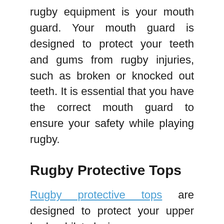rugby equipment is your mouth guard. Your mouth guard is designed to protect your teeth and gums from rugby injuries, such as broken or knocked out teeth. It is essential that you have the correct mouth guard to ensure your safety while playing rugby.
Rugby Protective Tops
Rugby protective tops are designed to protect your upper body whilst playing ...
CONTINUE READING